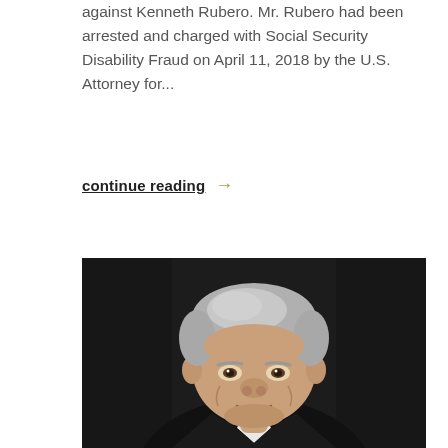against Kenneth Rubero. Mr. Rubero had been arrested and charged with Social Security Disability Fraud on April 11, 2018 by the U.S. Attorney for...
continue reading →
[Figure (photo): Professional headshot portrait of an older man with gray hair wearing a dark suit, against a dark background.]